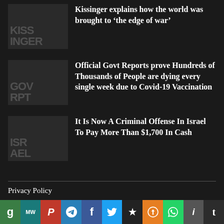Kissinger explains how the world was brought to 'the edge of war'
Official Govt Reports prove Hundreds of Thousands of People are dying every single week due to Covid-19 Vaccination
It Is Now A Criminal Offense In Israel To Pay More Than $1,700 In Cash
Privacy Policy
Disclosure
[Figure (infographic): Social media sharing icons bar at bottom: MeWe (green), MW (teal), Parler (red), Telegram (blue), Facebook (dark blue), Twitter (light blue), Micro.blog (black star), Reddit (orange), WhatsApp (green), Info (gray), Tumblr (dark blue/gray)]